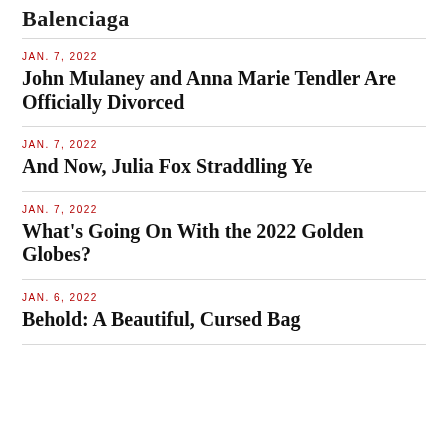Balenciaga
JAN. 7, 2022
John Mulaney and Anna Marie Tendler Are Officially Divorced
JAN. 7, 2022
And Now, Julia Fox Straddling Ye
JAN. 7, 2022
What's Going On With the 2022 Golden Globes?
JAN. 6, 2022
Behold: A Beautiful, Cursed Bag